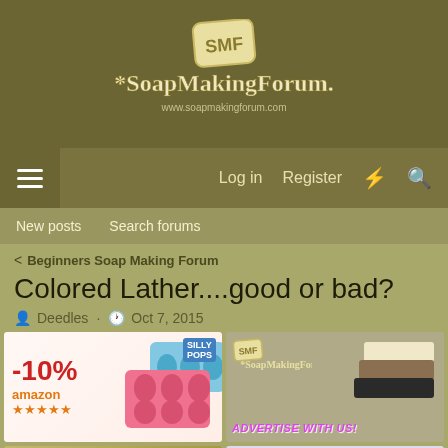[Figure (logo): SoapMakingForum logo with SMF badge and stylized text on dark olive/brown background]
Log in  Register  ⚡  🔍
New posts  Search forums
< Beginners Soap Making Forum
Colored Lather....good or bad?
Deedles · Oct 7, 2015
[Figure (photo): SillyPops advertisement: -10% amazon 5-star rating, pink and blue silicone soap molds]
[Figure (photo): SoapMakingForum advertise with us banner, showing stacked soap bars]
[Figure (photo): Find Us On eBay - soap making forum banner with soap bars]
[Figure (photo): PIFITO Melt & Pour Soap Base advertisement - Luxurious]